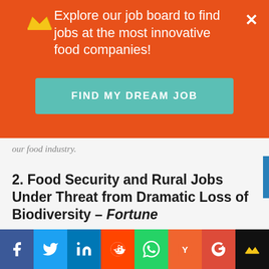Explore our job board to find jobs at the most innovative food companies!
FIND MY DREAM JOB
our food industry.
2. Food Security and Rural Jobs Under Threat from Dramatic Loss of Biodiversity – Fortune
The FAO on Friday published its first report into the state of the world’s biodiversity, warning that the losses threaten our food, livelihoods, health and environment. And once that biodiversity is lost, it isn’t coming back.
Facebook Twitter LinkedIn Reddit WhatsApp YCombinator Google+ Crown